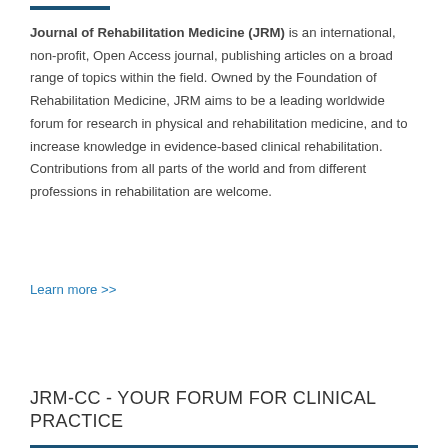Journal of Rehabilitation Medicine (JRM) is an international, non-profit, Open Access journal, publishing articles on a broad range of topics within the field. Owned by the Foundation of Rehabilitation Medicine, JRM aims to be a leading worldwide forum for research in physical and rehabilitation medicine, and to increase knowledge in evidence-based clinical rehabilitation. Contributions from all parts of the world and from different professions in rehabilitation are welcome.
Learn more >>
MAKE A SUBMISSION
JRM-CC - YOUR FORUM FOR CLINICAL PRACTICE